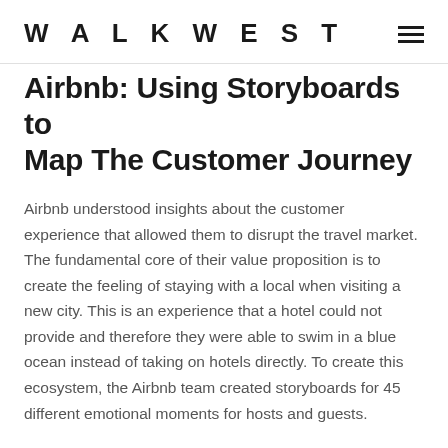WALKWEST
Airbnb: Using Storyboards to Map The Customer Journey
Airbnb understood insights about the customer experience that allowed them to disrupt the travel market. The fundamental core of their value proposition is to create the feeling of staying with a local when visiting a new city. This is an experience that a hotel could not provide and therefore they were able to swim in a blue ocean instead of taking on hotels directly. To create this ecosystem, the Airbnb team created storyboards for 45 different emotional moments for hosts and guests.
FOCUS ON CUSTOMER MOMENTS – AirBnB
[Figure (photo): Partial image visible at bottom of page, appears to be a crowd or outdoor scene with warm tones]